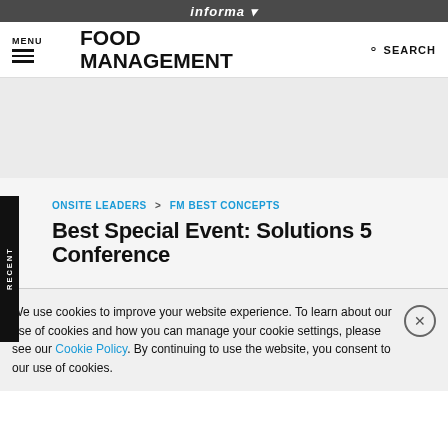informa
MENU  FOOD MANAGEMENT  SEARCH
[Figure (other): Gray advertisement placeholder area]
ONSITE LEADERS > FM BEST CONCEPTS
Best Special Event: Solutions 5 Conference
We use cookies to improve your website experience. To learn about our use of cookies and how you can manage your cookie settings, please see our Cookie Policy. By continuing to use the website, you consent to our use of cookies.